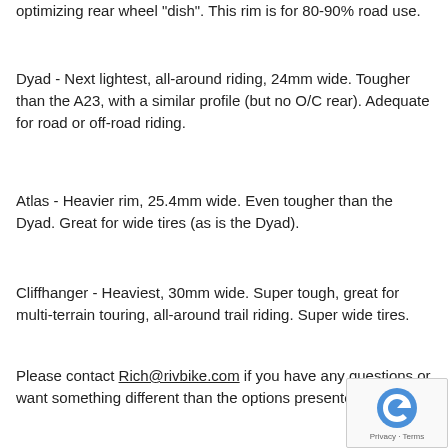optimizing rear wheel "dish". This rim is for 80-90% road use.
Dyad - Next lightest, all-around riding, 24mm wide. Tougher than the A23, with a similar profile (but no O/C rear). Adequate for road or off-road riding.
Atlas - Heavier rim, 25.4mm wide. Even tougher than the Dyad. Great for wide tires (as is the Dyad).
Cliffhanger - Heaviest, 30mm wide. Super tough, great for multi-terrain touring, all-around trail riding. Super wide tires.
Please contact Rich@rivbike.com if you have any questions or want something different than the options presented.